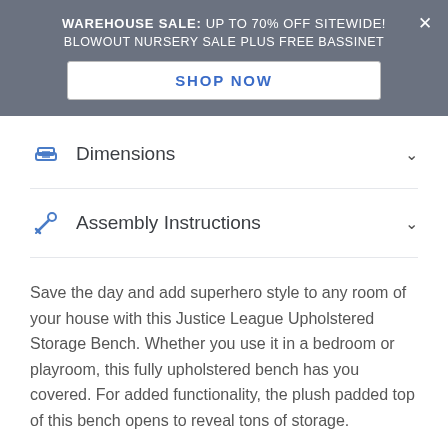WAREHOUSE SALE: UP TO 70% OFF SITEWIDE! BLOWOUT NURSERY SALE PLUS FREE BASSINET
Dimensions
Assembly Instructions
Save the day and add superhero style to any room of your house with this Justice League Upholstered Storage Bench. Whether you use it in a bedroom or playroom, this fully upholstered bench has you covered. For added functionality, the plush padded top of this bench opens to reveal tons of storage.